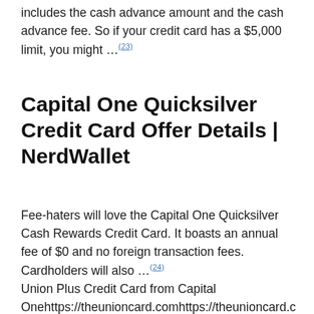includes the cash advance amount and the cash advance fee. So if your credit card has a $5,000 limit, you might … (23)
Capital One Quicksilver Credit Card Offer Details | NerdWallet
Fee-haters will love the Capital One Quicksilver Cash Rewards Credit Card. It boasts an annual fee of $0 and no foreign transaction fees. Cardholders will also … (24)
Union Plus Credit Card from Capital Onehttps://theunioncard.comhttps://theunioncard.c